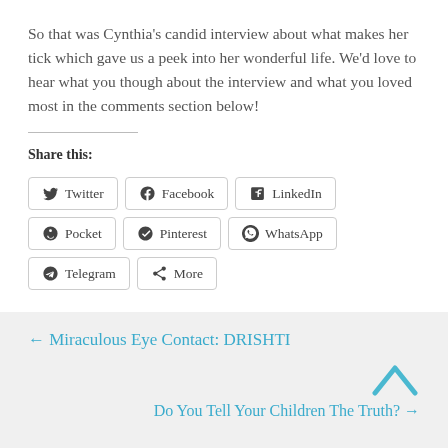So that was Cynthia’s candid interview about what makes her tick which gave us a peek into her wonderful life. We’d love to hear what you though about the interview and what you loved most in the comments section below!
Share this:
[Figure (infographic): Social share buttons: Twitter, Facebook, LinkedIn, Pocket, Pinterest, WhatsApp, Telegram, More]
← Miraculous Eye Contact: DRISHTI
Do You Tell Your Children The Truth? →